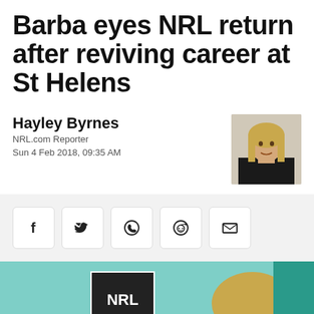Barba eyes NRL return after reviving career at St Helens
Hayley Byrnes
NRL.com Reporter
Sun 4 Feb 2018, 09:35 AM
[Figure (photo): Portrait photo of reporter Hayley Byrnes, a blonde woman in a black top]
[Figure (other): Social sharing buttons: Facebook, Twitter, WhatsApp, Reddit, Email]
[Figure (photo): Photo of a person at an NRL press conference, teal/mint background with NRL logo shield visible]